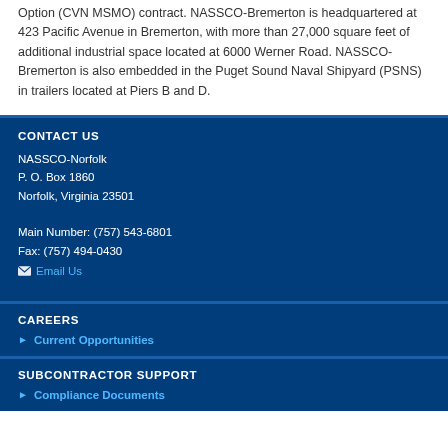Option (CVN MSMO) contract. NASSCO-Bremerton is headquartered at 423 Pacific Avenue in Bremerton, with more than 27,000 square feet of additional industrial space located at 6000 Werner Road. NASSCO-Bremerton is also embedded in the Puget Sound Naval Shipyard (PSNS) in trailers located at Piers B and D.
CONTACT US
NASSCO-Norfolk
P. O. Box 1860
Norfolk, Virginia 23501

Main Number: (757) 543-6801
Fax: (757) 494-0430
Email Us
CAREERS
Current Opportunities
SUBCONTRACTOR SUPPORT
Compliance Documents